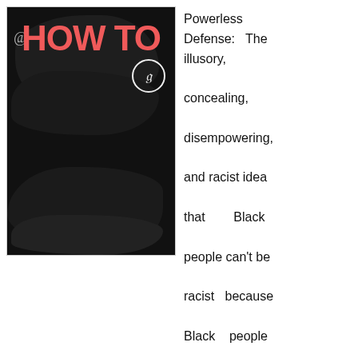[Figure (photo): Book cover of 'How to Be an Antiracist' by Ibram X. Kendi, New York Times Bestseller, National Book Award-Winning Author, with bold red, yellow, green and white typography on a black background with ink blot design.]
Powerless Defense: The illusory, concealing, disempowering, and racist idea that Black people can't be racist because Black people don't have power.
“When you control a man’s thinking you do not have to worry about his actions. You do not have to tell him to